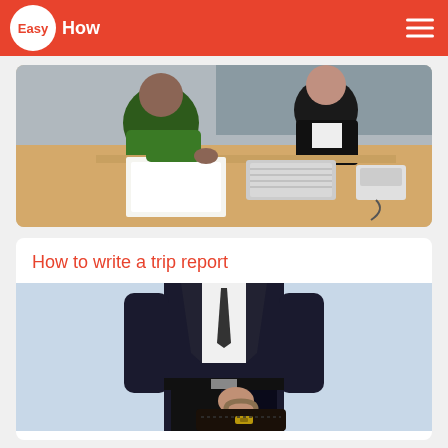EasyHow
[Figure (photo): Two people at an office desk, one in green sweater reviewing documents, another in black jacket across the table with a keyboard and phone visible]
How to write a trip report
[Figure (photo): Person in a dark suit holding a briefcase, shown from chest down against a light blue background]